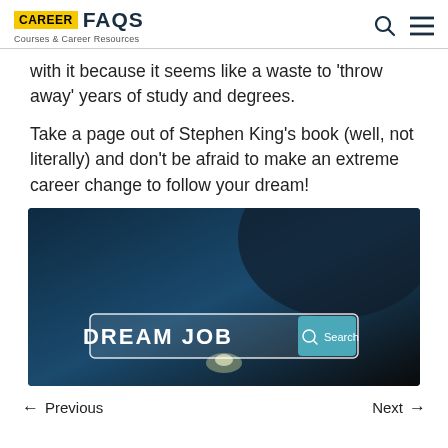CAREER FAQS — Courses & Career Resources
with it because it seems like a waste to 'throw away' years of study and degrees.
Take a page out of Stephen King's book (well, not literally) and don't be afraid to make an extreme career change to follow your dream!
[Figure (photo): Dark background image of a person's finger touching a glowing search bar with text 'DREAM JOB' and a 'Search' button.]
← Previous    Next →